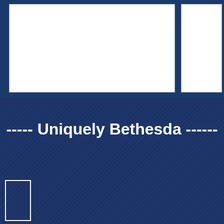[Figure (other): White rectangular box on dark navy blue background, top left area]
[Figure (other): White rectangular box on dark navy blue background, top right area]
----- Uniquely Bethesda ------
[Figure (other): White outlined rectangular box on dark navy blue background, bottom left area]